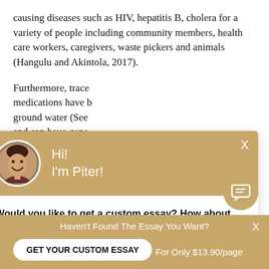causing diseases such as HIV, hepatitis B, cholera for a variety of people including community members, health care workers, caregivers, waste pickers and animals (Hangulu and Akintola, 2017).
Furthermore, trace medications have b ground water (See and can have gene example, renal failu vultures who inges contaminated with used pain and infla is available without Africa (Tong et al, 2 expectancy of the species. Considerable
[Figure (screenshot): Chat popup overlay with avatar photo of a young man smiling, header text 'Hi! I'm Piter!' on tan/gold background, body text 'Would you like to get a custom essay? How about receiving a customized one?' and a 'Check it out' link.]
Haven't Found The Essay You Want?
GET YOUR CUSTOM ESSAY
For Only $13.90/page